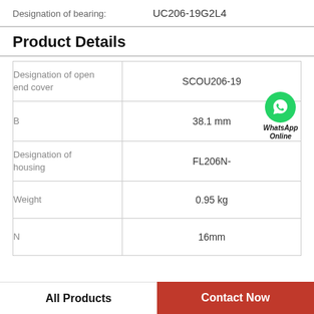Designation of bearing: UC206-19G2L4
Product Details
| Property | Value |
| --- | --- |
| Designation of open end cover | SCOU206-19 |
| B | 38.1 mm |
| Designation of housing | FL206N- |
| Weight | 0.95 kg |
| N | 16mm |
WhatsApp Online
All Products | Contact Now